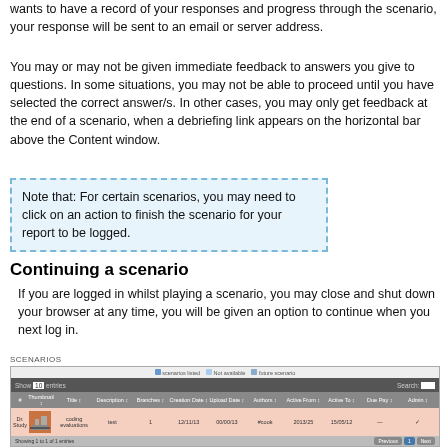wants to have a record of your responses and progress through the scenario, your response will be sent to an email or server address.
You may or may not be given immediate feedback to answers you give to questions. In some situations, you may not be able to proceed until you have selected the correct answer/s. In other cases, you may only get feedback at the end of a scenario, when a debriefing link appears on the horizontal bar above the Content window.
Note that: For certain scenarios, you may need to click on an action to finish the scenario for your report to be logged.
Continuing a scenario
If you are logged in whilst playing a scenario, you may close and shut down your browser at any time, you will be given an option to continue when you next log in.
[Figure (screenshot): Screenshot of a SCENARIOS list table with columns for Thumbnail, Title, Description, Branches, Creation Date, Upload Date, Authors, Active From, Active To, Due Pay, and Admin. One row is visible showing a scenario called 'coding evaluations' with a thumbnail image.]